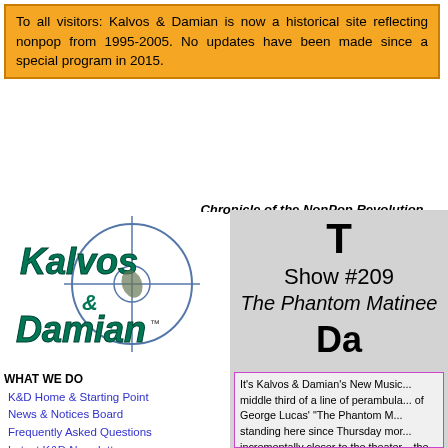To all visitors: Kalvos & Damian is now a historical site reflecting nonpop from 1995-2005. No updates have been made since a special program in 2015.
Chronicle of the NonPop Revolution
[Figure (logo): Kalvos & Damian logo with crosshair/target circle overlay on stylized text]
WHAT WE DO
K&D Home & Starting Point
News & Notices Board
Frequently Asked Questions
Latest K&D Newsletter
Upcoming Show Guests
Index of K&D Show Guests
Site Map
Full Site Search
MUSIC & FEATURES
Broadcast Audio Archive
ASCAP Deems Taylor Award
9/11 Musical Gallery
Ought-One Festival 2001
Show #209 The Phantom Matinee
Da
It's Kalvos & Damian's New Music... middle third of a line of perambula... of George Lucas' "The Phantom M... standing here since Thursday mor... incrementally closer to the theater... the ticket booth. Many fellow line s... the film. There's a person dressed... provenders, actually -- and three o...